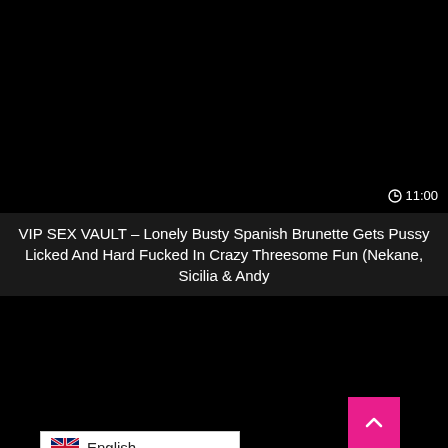[Figure (screenshot): Black video thumbnail with duration stamp showing 11:00 in bottom right corner]
VIP SEX VAULT – Lonely Busty Spanish Brunette Gets Pussy Licked And Hard Fucked In Crazy Threesome Fun (Nekane, Sicilia & Andy
[Figure (screenshot): Black video thumbnail with a pink back-to-top button (chevron up) in lower right area, and an English language selector dropdown in lower left area]